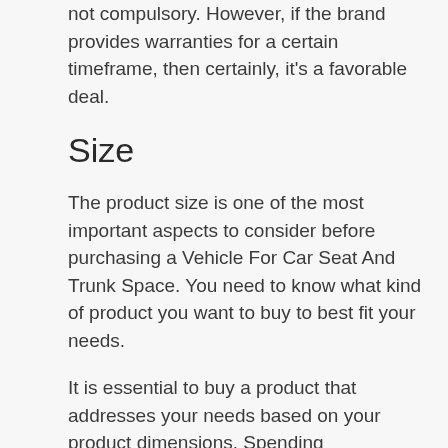not compulsory. However, if the brand provides warranties for a certain timeframe, then certainly, it's a favorable deal.
Size
The product size is one of the most important aspects to consider before purchasing a Vehicle For Car Seat And Trunk Space. You need to know what kind of product you want to buy to best fit your needs.
It is essential to buy a product that addresses your needs based on your product dimensions. Spending